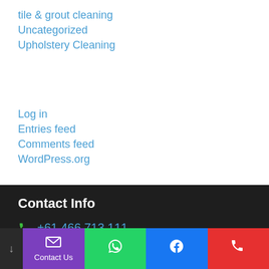tile & grout cleaning
Uncategorized
Upholstery Cleaning
Log in
Entries feed
Comments feed
WordPress.org
Contact Info
+61 466 713 111
+61 426 355 666
Contact Us